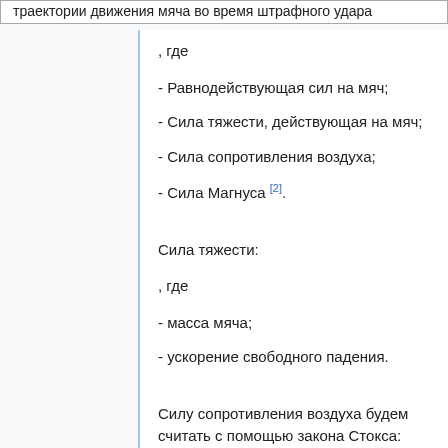траектории движения мяча во время штрафного удара
, где
- Равнодействующая сил на мяч;
- Сила тяжести, действующая на мяч;
- Сила сопротивления воздуха;
- Сила Магнуса [2].
Сила тяжести:
, где
- масса мяча;
- ускорение свободного падения.
Силу сопротивления воздуха будем считать с помощью закона Стокса:
, где
- сила Стокса.